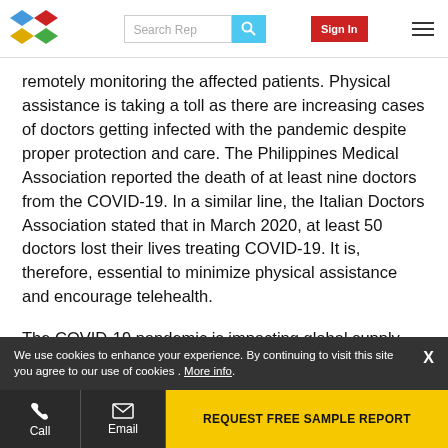Search Rep | Sign In
remotely monitoring the affected patients. Physical assistance is taking a toll as there are increasing cases of doctors getting infected with the pandemic despite proper protection and care. The Philippines Medical Association reported the death of at least nine doctors from the COVID-19. In a similar line, the Italian Doctors Association stated that in March 2020, at least 50 doctors lost their lives treating COVID-19. It is, therefore, essential to minimize physical assistance and encourage telehealth.
The COVID-19 pandemic is impacting global supply chains and logistics as the lockdown has been imposed geographically, and the continuity of operations for a number of industries has been deeply impacted. The sectors
We use cookies to enhance your experience. By continuing to visit this site you agree to our use of cookies . More info.
Call | Email | REQUEST FREE SAMPLE REPORT